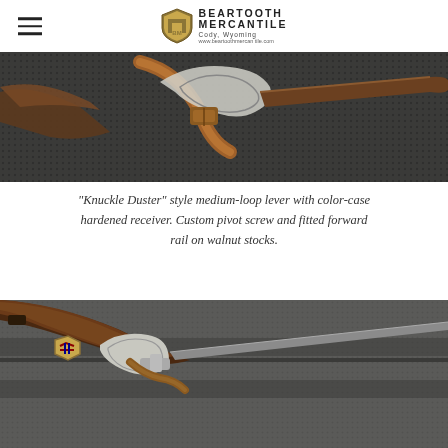Beartooth Mercantile — Cody, Wyoming
[Figure (photo): Close-up photograph of a knuckle duster style medium-loop lever action rifle with color-case hardened receiver, showing custom pivot screw and walnut stock with leather sling on a textured dark surface.]
"Knuckle Duster" style medium-loop lever with color-case hardened receiver. Custom pivot screw and fitted forward rail on walnut stocks.
[Figure (photo): Photograph of a lever action rifle with walnut stocks and leather sling lying in an open gun case with gray lining, showing the knuckle duster loop lever mechanism with a badge/patch visible near the receiver.]